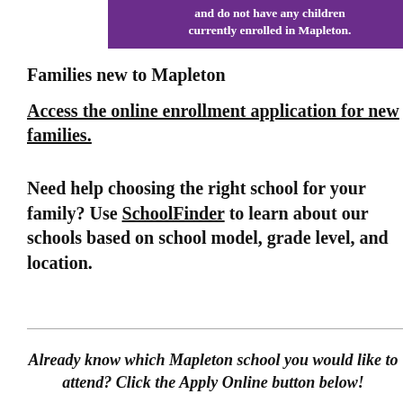[Figure (other): Purple banner with white bold text: 'and do not have any children currently enrolled in Mapleton.']
Families new to Mapleton
Access the online enrollment application for new families.
Need help choosing the right school for your family? Use SchoolFinder to learn about our schools based on school model, grade level, and location.
Already know which Mapleton school you would like to attend? Click the Apply Online button below!